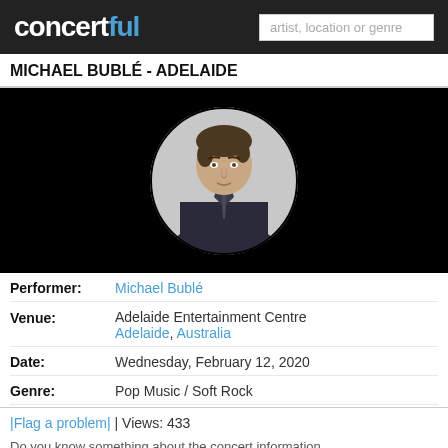concertful | artist, location or genre
MICHAEL BUBLÉ - ADELAIDE
[Figure (photo): Circular portrait photo of Michael Bublé against a black background, wearing a dark suit]
Performer: Michael Bublé
Venue: Adelaide Entertainment Centre Adelaide, Australia
Date: Wednesday, February 12, 2020
Genre: Pop Music / Soft Rock
|Flag a problem| | Views: 433
Do you know something about the concert information...